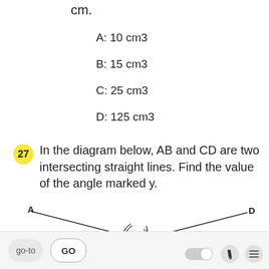cm.
A: 10 cm3
B: 15 cm3
C: 25 cm3
D: 125 cm3
27  In the diagram below, AB and CD are two intersecting straight lines. Find the value of the angle marked y.
[Figure (engineering-diagram): Diagram of two intersecting straight lines AB and CD. Lines cross at a point forming angles; the angle on the left of the intersection is labeled 65°, and the angle on the upper right is labeled y. Point A is at upper left, D is at upper right, and the lines cross in the middle-lower area.]
go-to  GO  [toggle] [pencil] [menu]